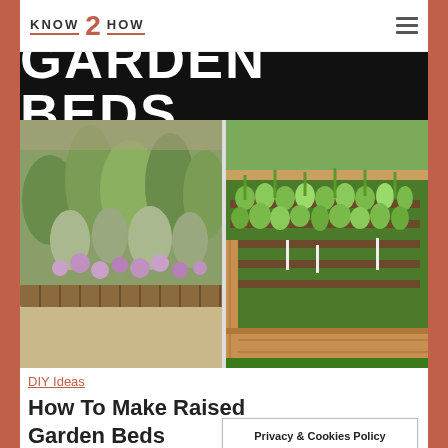KNOW 2 HOW
GARDEN BEDS
[Figure (photo): Two garden bed photos side by side: left shows a wicker/wattle raised garden bed with herbs and purple chive flowers; right shows a wooden raised garden bed with organized rows of leafy green vegetables and tall plants in background.]
DIY Ideas
How To Make Raised Garden Beds
Privacy & Cookies Policy